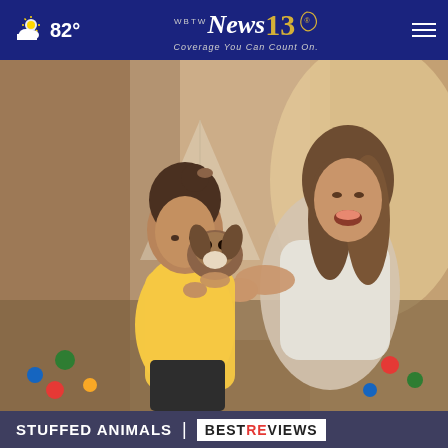☁ 82° | WBTW News 13 — Coverage You Can Count On. | ☰
[Figure (photo): A young girl in a yellow outfit holds a stuffed dog toy up to her face while a smiling woman in white reaches toward her in a bright, toy-filled room.]
STUFFED ANIMALS | BESTREVIEWS